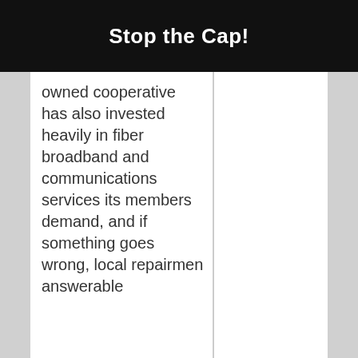Stop the Cap!
owned cooperative has also invested heavily in fiber broadband and communications services its members demand, and if something goes wrong, local repairmen answerable